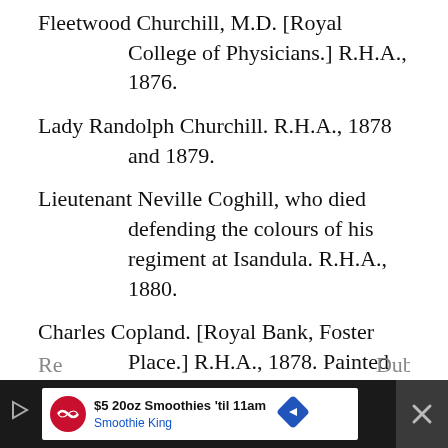Fleetwood Churchill, M.D. [Royal College of Physicians.] R.H.A., 1876.
Lady Randolph Churchill. R.H.A., 1878 and 1879.
Lieutenant Neville Coghill, who died defending the colours of his regiment at Isandula. R.H.A., 1880.
Charles Copland. [Royal Bank, Foster Place.] R.H.A., 1878. Painted for the Directors of the Bank.
Charles, Marquess Cornwallis, Lord Lieutenant. [Dublin Castle.] A copy.